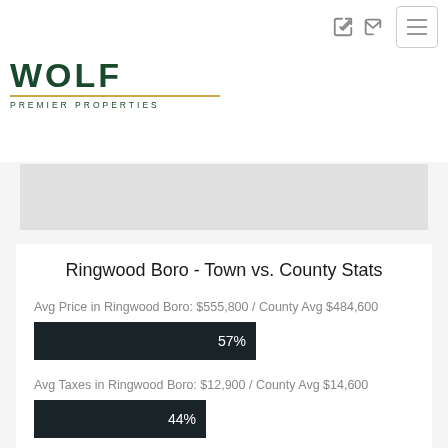Wolf Premier Properties - navigation header
[Figure (logo): Wolf Premier Properties logo with dark green text and gold underline]
Ringwood Boro - Town vs. County Stats
Avg Price in Ringwood Boro: $555,800 / County Avg $484,600
[Figure (bar-chart): Avg Price comparison]
Avg Taxes in Ringwood Boro: $12,900 / County Avg $14,600
[Figure (bar-chart): Avg Taxes comparison]